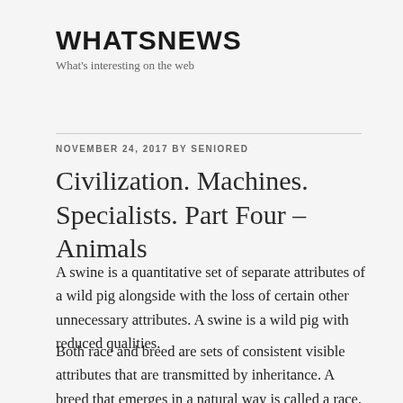WHATSNEWS
What's interesting on the web
NOVEMBER 24, 2017 BY SENIORED
Civilization. Machines. Specialists. Part Four – Animals
A swine is a quantitative set of separate attributes of a wild pig alongside with the loss of certain other unnecessary attributes. A swine is a wild pig with reduced qualities.
Both race and breed are sets of consistent visible attributes that are transmitted by inheritance. A breed that emerges in a natural way is called a race, and an artificially generated race is called a breed.